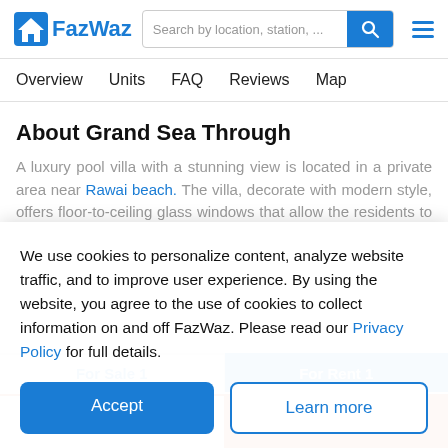FazWaz — Search by location, station, ...
Overview   Units   FAQ   Reviews   Map
About Grand Sea Through
A luxury pool villa with a stunning view is located in a private area near Rawai beach. The villa, decorate with modern style, offers floor-to-ceiling glass windows that allow the residents to get natural
We use cookies to personalize content, analyze website traffic, and to improve user experience. By using the website, you agree to the use of cookies to collect information on and off FazWaz. Please read our Privacy Policy for full details.
Accept
Learn more
For Sale 1
For Rent 1
Request Details
Call